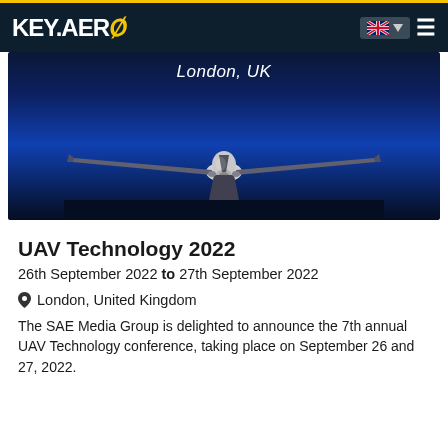KEY.AERO
[Figure (photo): Hero banner image of a UAV drone photographed head-on against a blue sky/dusk background, with text 'London, UK' overlaid at the top in italic white font.]
UAV Technology 2022
26th September 2022 to 27th September 2022
London, United Kingdom
The SAE Media Group is delighted to announce the 7th annual UAV Technology conference, taking place on September 26 and 27, 2022.